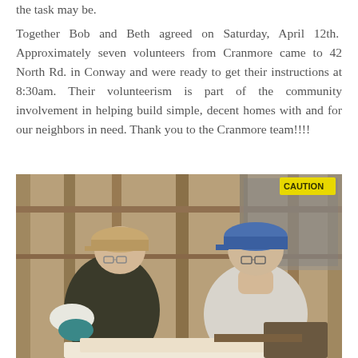the task may be.
Together Bob and Beth agreed on Saturday, April 12th. Approximately seven volunteers from Cranmore came to 42 North Rd. in Conway and were ready to get their instructions at 8:30am. Their volunteerism is part of the community involvement in helping build simple, decent homes with and for our neighbors in need. Thank you to the Cranmore team!!!!
[Figure (photo): Two men wearing baseball caps looking down at documents or plans inside a building under construction. A yellow CAUTION sign is visible in the upper right. One man wears a dark vest over a white shirt, the other wears a light grey long-sleeve shirt.]